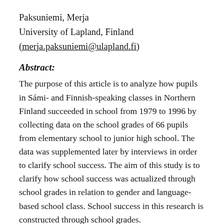Paksuniemi, Merja
University of Lapland, Finland
(merja.paksuniemi@ulapland.fi)
Abstract:
The purpose of this article is to analyze how pupils in Sámi- and Finnish-speaking classes in Northern Finland succeeded in school from 1979 to 1996 by collecting data on the school grades of 66 pupils from elementary school to junior high school. The data was supplemented later by interviews in order to clarify school success. The aim of this study is to clarify how school success was actualized through school grades in relation to gender and language-based school class. School success in this research is constructed through school grades. According to the statistical results, the girls were more successful in school than the boys. Overall, the Sámi boys did not add up to that the d...